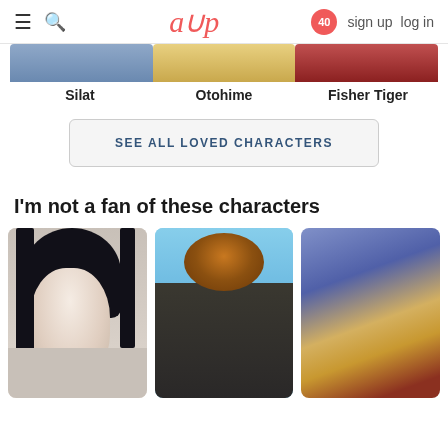≡ 🔍  aup  40  sign up  log in
Silat   Otohime   Fisher Tiger
SEE ALL LOVED CHARACTERS
I'm not a fan of these characters
[Figure (photo): Three anime character portrait images: a pale girl with black hair, a large muscular dark-skinned man grinning, and an elderly man in ornate robes]
[Figure (screenshot): Screenshot of an anime profile website (aup) showing character sections]